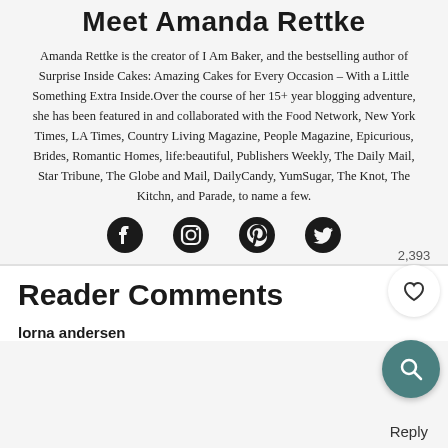Meet Amanda Rettke
Amanda Rettke is the creator of I Am Baker, and the bestselling author of Surprise Inside Cakes: Amazing Cakes for Every Occasion – With a Little Something Extra Inside.Over the course of her 15+ year blogging adventure, she has been featured in and collaborated with the Food Network, New York Times, LA Times, Country Living Magazine, People Magazine, Epicurious, Brides, Romantic Homes, life:beautiful, Publishers Weekly, The Daily Mail, Star Tribune, The Globe and Mail, DailyCandy, YumSugar, The Knot, The Kitchn, and Parade, to name a few.
[Figure (infographic): Social media icons: Facebook, Instagram, Pinterest, Twitter]
Reader Comments
lorna andersen
Reply